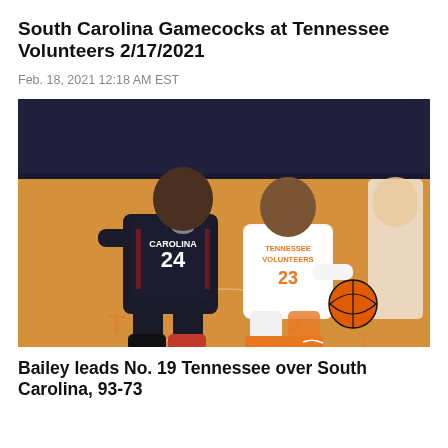South Carolina Gamecocks at Tennessee Volunteers 2/17/2021
Feb. 18, 2021 12:18 AM EST
[Figure (photo): Basketball game photo showing South Carolina player #24 in dark uniform defending against a Tennessee player in white/orange uniform dribbling on an orange court]
Bailey leads No. 19 Tennessee over South Carolina, 93-73